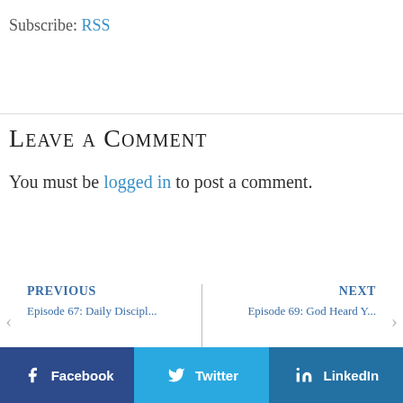Subscribe: RSS
Leave a Comment
You must be logged in to post a comment.
PREVIOUS
Episode 67: Daily Discipl...
NEXT
Episode 69: God Heard Y...
Facebook  Twitter  LinkedIn